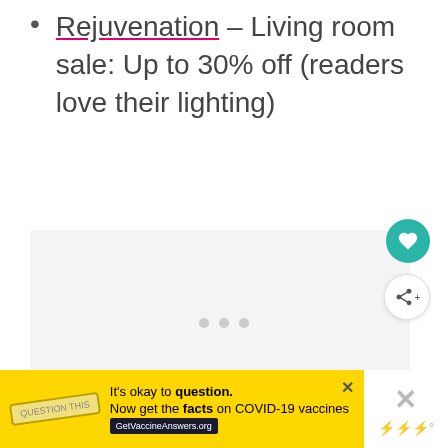Rejuvenation – Living room sale: Up to 30% off (readers love their lighting)
[Figure (photo): A light gray placeholder image area with three dots at the bottom indicating a carousel, and social action buttons (heart and share) on the right side.]
It's okay to question. Now get the facts on COVID-19 vaccines GetVaccineAnswers.org